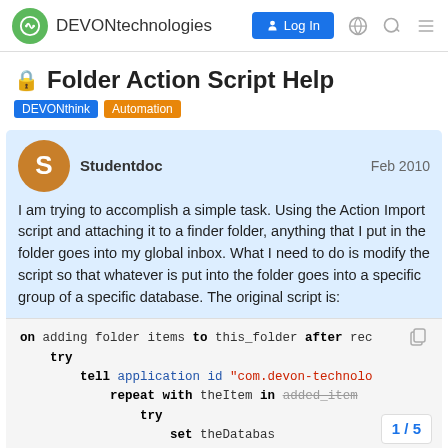DEVONtechnologies
Folder Action Script Help
DEVONthink  Automation
Studentdoc  Feb 2010
I am trying to accomplish a simple task. Using the Action Import script and attaching it to a finder folder, anything that I put in the folder goes into my global inbox. What I need to do is modify the script so that whatever is put into the folder goes into a specific group of a specific database. The original script is:
on adding folder items to this_folder after rec
    try
        tell application id "com.devon-technolo
            repeat with theItem in added_items
                try
                    set theDatabas